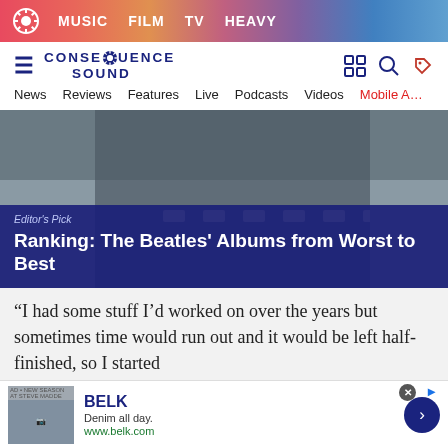MUSIC  FILM  TV  HEAVY
[Figure (logo): Consequence Sound website logo with gear icon]
News  Reviews  Features  Live  Podcasts  Videos  Mobile App
[Figure (photo): Aerial view of road with dashed lane markings]
Editor's Pick
Ranking: The Beatles' Albums from Worst to Best
“I had some stuff I’d worked on over the years but sometimes time would run out and it would be left half-finished, so I started
[Figure (other): Belk advertisement banner — Denim all day. www.belk.com]